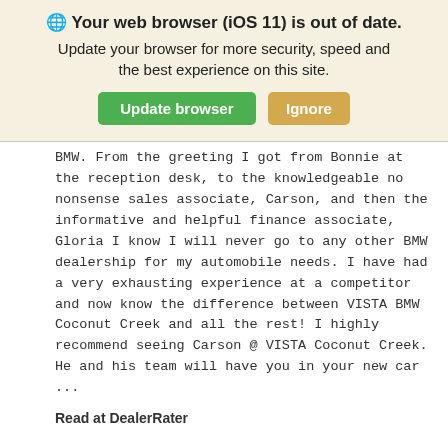[Figure (screenshot): Browser warning banner with globe icon saying 'Your web browser (iOS 11) is out of date.' with Update browser (green) and Ignore (tan) buttons]
BMW. From the greeting I got from Bonnie at the reception desk, to the knowledgeable no nonsense sales associate, Carson, and then the informative and helpful finance associate, Gloria I know I will never go to any other BMW dealership for my automobile needs. I have had a very exhausting experience at a competitor and now know the difference between VISTA BMW Coconut Creek and all the rest! I highly recommend seeing Carson @ VISTA Coconut Creek. He and his team will have you in your new car ...
Read at DealerRater
DealerRater - May 9, 2021
Carson, the best car salesman I have ever dealt with...And the whole dealer experience at Vista BMW was super nice.